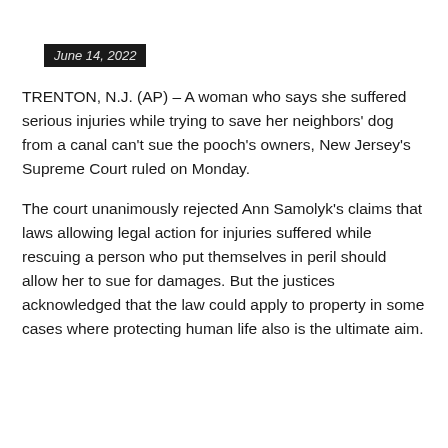June 14, 2022
TRENTON, N.J. (AP) – A woman who says she suffered serious injuries while trying to save her neighbors' dog from a canal can't sue the pooch's owners, New Jersey's Supreme Court ruled on Monday.
The court unanimously rejected Ann Samolyk's claims that laws allowing legal action for injuries suffered while rescuing a person who put themselves in peril should allow her to sue for damages. But the justices acknowledged that the law could apply to property in some cases where protecting human life also is the ultimate aim.